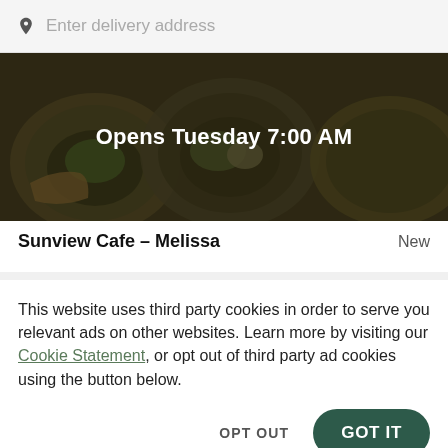Enter delivery address
[Figure (photo): Dimmed overhead photo of food bowls/plates with text overlay 'Opens Tuesday 7:00 AM']
Sunview Cafe – Melissa
New
This website uses third party cookies in order to serve you relevant ads on other websites. Learn more by visiting our Cookie Statement, or opt out of third party ad cookies using the button below.
OPT OUT
GOT IT